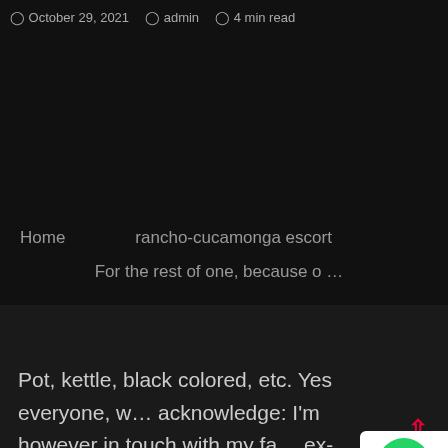October 29, 2021   admin   4 min read
Home   rancho-cucamonga escort
For the rest of one, because o …
Pot, kettle, black colored, etc. Yes everyone, w… acknowledge: I'm however in touch with my fa… ex-boyfriend more that